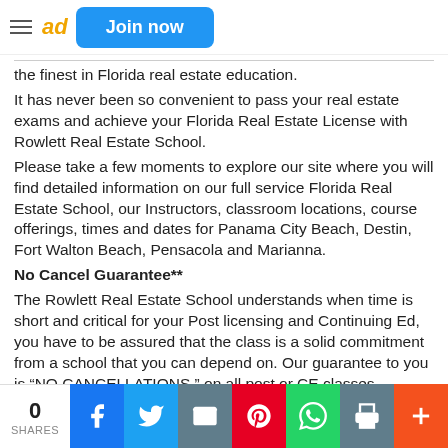ad | Join now
the finest in Florida real estate education.
It has never been so convenient to pass your real estate exams and achieve your Florida Real Estate License with Rowlett Real Estate School.
Please take a few moments to explore our site where you will find detailed information on our full service Florida Real Estate School, our Instructors, classroom locations, course offerings, times and dates for Panama City Beach, Destin, Fort Walton Beach, Pensacola and Marianna.
No Cancel Guarantee**
The Rowlett Real Estate School understands when time is short and critical for your Post licensing and Continuing Ed, you have to be assured that the class is a solid commitment from a school that you can depend on. Our guarantee to you is “NO CANCELLATIONS.” on all post or CE classes.
0 SHARES | Facebook | Twitter | Email | Pinterest | WhatsApp | Print | More